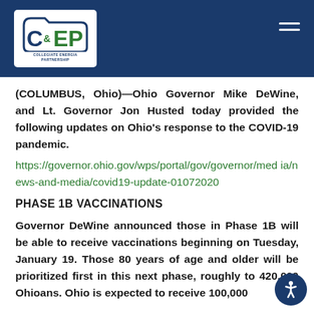[Figure (logo): CEP (Collegiate ??? Partnership) logo with folder icon on dark blue header bar]
(COLUMBUS, Ohio)—Ohio Governor Mike DeWine, and Lt. Governor Jon Husted today provided the following updates on Ohio's response to the COVID-19 pandemic.
https://governor.ohio.gov/wps/portal/gov/governor/media/news-and-media/covid19-update-01072020
PHASE 1B VACCINATIONS
Governor DeWine announced those in Phase 1B will be able to receive vaccinations beginning on Tuesday, January 19. Those 80 years of age and older will be prioritized first in this next phase, roughly to 420,000 Ohioans. Ohio is expected to receive 100,000